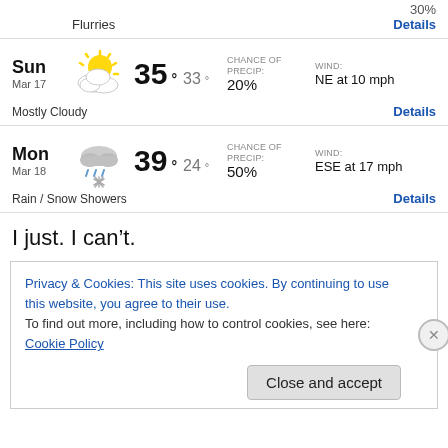30%
Flurries
Details
[Figure (illustration): Mostly Cloudy weather icon — sun partially behind clouds]
Sun Mar 17 — 35° 33° — CHANCE OF PRECIP: 20% — WIND: NE at 10 mph — Mostly Cloudy — Details
[Figure (illustration): Rain / Snow Showers weather icon — cloud with rain and snowflake]
Mon Mar 18 — 39° 24° — CHANCE OF PRECIP: 50% — WIND: ESE at 17 mph — Rain / Snow Showers — Details
I just. I can't.
Privacy & Cookies: This site uses cookies. By continuing to use this website, you agree to their use. To find out more, including how to control cookies, see here: Cookie Policy
Close and accept